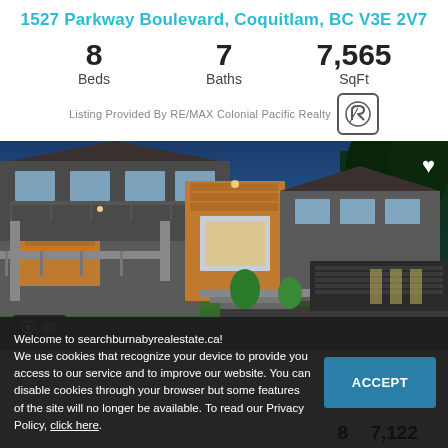1527 Parkway Boulevard, Coquitlam, BC V3E 2V7
8 Beds  7 Baths  7,565 SqFt
Listing Provided By RE/MAX Colonial Pacific Realty
[Figure (photo): Exterior photo of a large luxury home at dusk, two-story with wood and concrete accents, multiple balconies, attached garage, landscaped front yard. Photo count badge: 40.]
Welcome to searchburnabyrealestate.ca! We use cookies that recognize your device to provide you access to our service and to improve our website. You can disable cookies through your browser but some features of the site will no longer be available. To read our Privacy Policy, click here.
ACCEPT
8  7,122